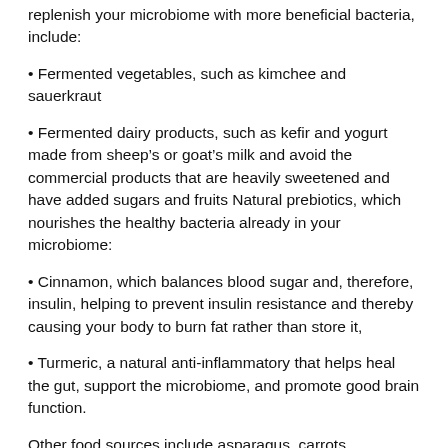replenish your microbiome with more beneficial bacteria, include:
• Fermented vegetables, such as kimchee and sauerkraut
• Fermented dairy products, such as kefir and yogurt made from sheep's or goat's milk and avoid the commercial products that are heavily sweetened and have added sugars and fruits Natural prebiotics, which nourishes the healthy bacteria already in your microbiome:
• Cinnamon, which balances blood sugar and, therefore, insulin, helping to prevent insulin resistance and thereby causing your body to burn fat rather than store it,
• Turmeric, a natural anti-inflammatory that helps heal the gut, support the microbiome, and promote good brain function.
Other food sources include asparagus, carrots